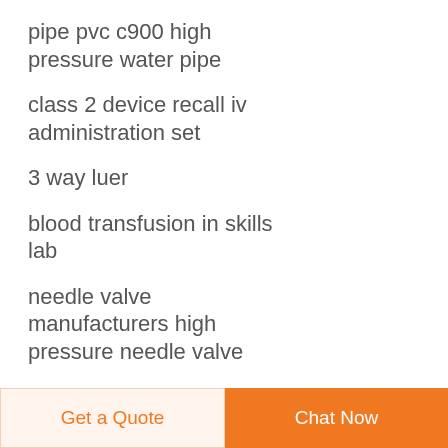pipe pvc c900 high pressure water pipe
class 2 device recall iv administration set
3 way luer
blood transfusion in skills lab
needle valve manufacturers high pressure needle valve
1 way stopcock
iv products accessories best iv set production line for safe medical purposes